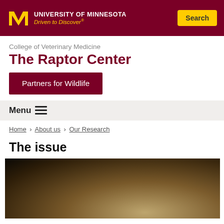University of Minnesota — Driven to Discover®
College of Veterinary Medicine
The Raptor Center
Partners for Wildlife
Menu ≡
Home › About us › Our Research
The issue
[Figure (photo): A dark, blurry close-up photograph of what appears to be a raptor bird being examined or held, with a light-colored background.]